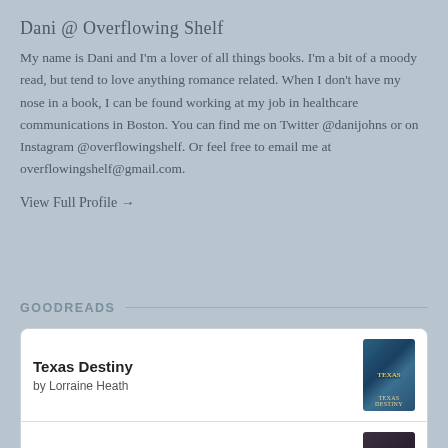Dani @ Overflowing Shelf
My name is Dani and I'm a lover of all things books. I'm a bit of a moody read, but tend to love anything romance related. When I don't have my nose in a book, I can be found working at my job in healthcare communications in Boston. You can find me on Twitter @danijohns or on Instagram @overflowingshelf. Or feel free to email me at overflowingshelf@gmail.com.
View Full Profile →
GOODREADS
Texas Destiny
by Lorraine Heath
Duke I'd Like to F...